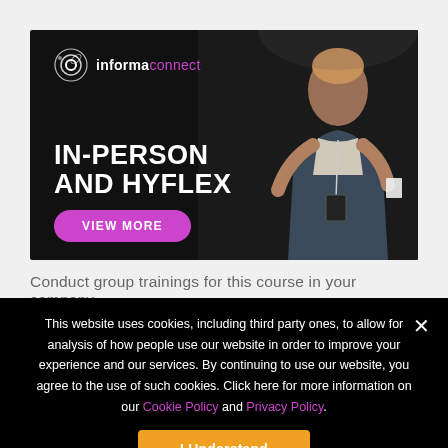[Figure (photo): Informa Connect banner ad with a man presenting, headline IN-PERSON AND HYFLEX, and a VIEW MORE button on dark background]
Conduct group trainings for this course in your company.
This website uses cookies, including third party ones, to allow for analysis of how people use our website in order to improve your experience and our services. By continuing to use our website, you agree to the use of such cookies. Click here for more information on our Cookie Policy and Privacy Policy.
I Understand